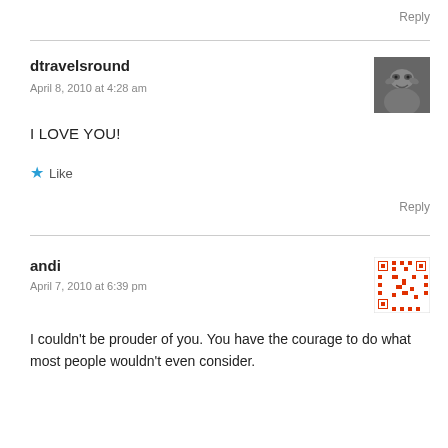Reply
dtravelsround
April 8, 2010 at 4:28 am
I LOVE YOU!
Like
Reply
andi
April 7, 2010 at 6:39 pm
I couldn't be prouder of you. You have the courage to do what most people wouldn't even consider.